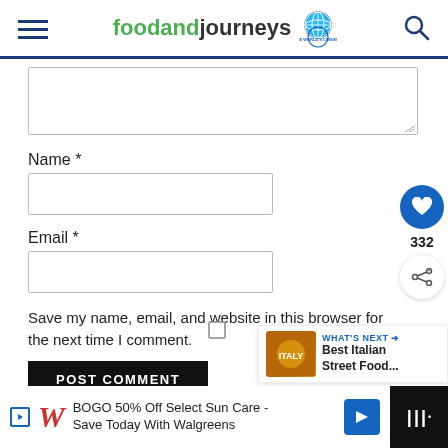foodandjourneys
[Figure (screenshot): Comment form text area input box]
Name *
[Figure (screenshot): Name input field]
Email *
[Figure (screenshot): Email input field]
Save my name, email, and website in this browser for the next time I comment.
[Figure (screenshot): POST COMMENT button and social action buttons (heart 332, share). What's Next: Best Italian Street Food...]
[Figure (screenshot): Advertisement bar: BOGO 50% Off Select Sun Care - Save Today With Walgreens]